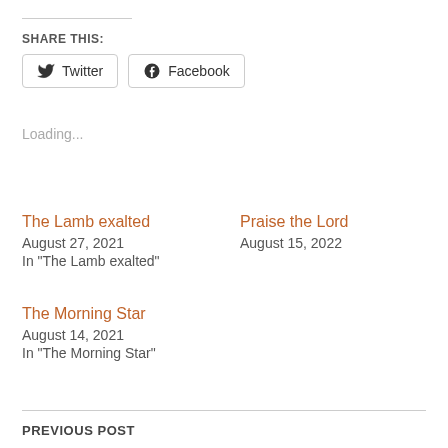SHARE THIS:
Twitter  Facebook
Loading...
The Lamb exalted
August 27, 2021
In "The Lamb exalted"
Praise the Lord
August 15, 2022
The Morning Star
August 14, 2021
In "The Morning Star"
PREVIOUS POST